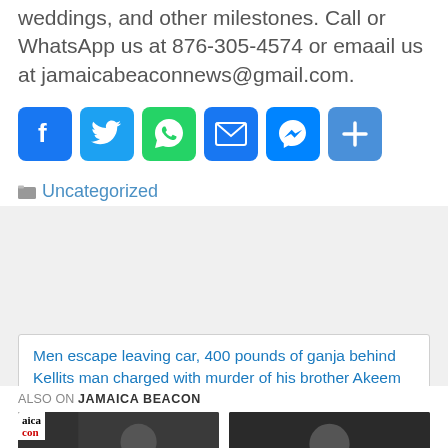weddings, and other milestones. Call or WhatsApp us at 876-305-4574 or emaail us at jamaicabeaconnews@gmail.com.
[Figure (infographic): Row of six social media sharing icons: Facebook, Twitter, WhatsApp, Email, Messenger, Share/Plus]
Uncategorized
Men escape leaving car, 400 pounds of ganja behind
Kellits man charged with murder of his brother Akeem Wilks
ALSO ON JAMAICA BEACON
[Figure (photo): Two thumbnail photos side by side: left shows a man in dark clothing with Jamaica Beacon logo overlay, right shows a man looking at camera]